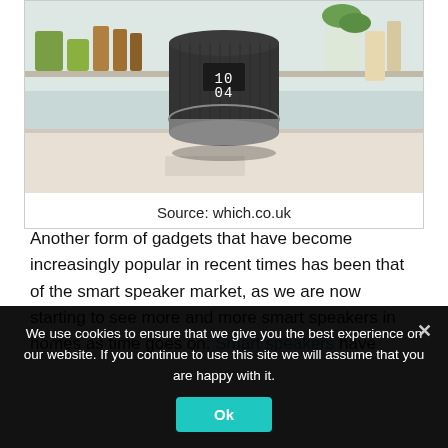[Figure (photo): A black cylindrical smart speaker with a fabric cover and a small digital clock display showing 10:04, placed on a kitchen counter with blurred background showing shelves and kitchen items.]
Source: which.co.uk
Another form of gadgets that have become increasingly popular in recent times has been that of the smart speaker market, as we are now starting to see more and more smart speakers in homes as time goes on. Smart speakers have
We use cookies to ensure that we give you the best experience on our website. If you continue to use this site we will assume that you are happy with it.